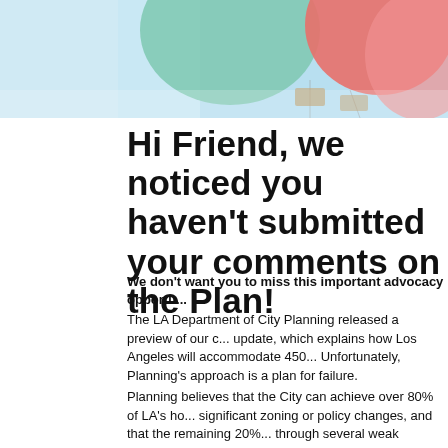[Figure (illustration): Colorful balloon-style illustration with blue sky background and red/pink balloon shapes in the top right area]
Hi Friend, we noticed you haven't submitted your comments on the Plan!
We don't want you to miss this important advocacy opportu...
The LA Department of City Planning released a preview of our c... update, which explains how Los Angeles will accommodate 450... Unfortunately, Planning's approach is a plan for failure.
Planning believes that the City can achieve over 80% of LA's ho... significant zoning or policy changes, and that the remaining 20%... through several weak community plan updates. The facts don't s... going down this path would mean failing to build enough housing... income areas that use exclusionary zoning to keep new people o... come true.
It's time to speak out. The Equitable Distribution approach to th... right way to plan for LA's future. Please send this letter to Planni... them to change course.